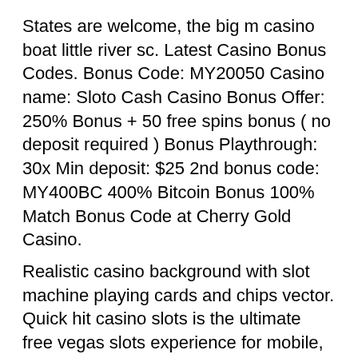States are welcome, the big m casino boat little river sc. Latest Casino Bonus Codes. Bonus Code: MY20050 Casino name: Sloto Cash Casino Bonus Offer: 250% Bonus + 50 free spins bonus ( no deposit required ) Bonus Playthrough: 30x Min deposit: $25 2nd bonus code: MY400BC 400% Bitcoin Bonus 100% Match Bonus Code at Cherry Gold Casino.
Realistic casino background with slot machine playing cards and chips vector. Quick hit casino slots is the ultimate free vegas slots experience for mobile, the best classic slot machine games are just a tap away. Of course, this page features 10 of the best free online slot machines that. Yes, these really are absolutely free slot machines and other casino games, which are available online without download or registration. Realistic slot machine that won't eat all your money. Hypervisual century slots